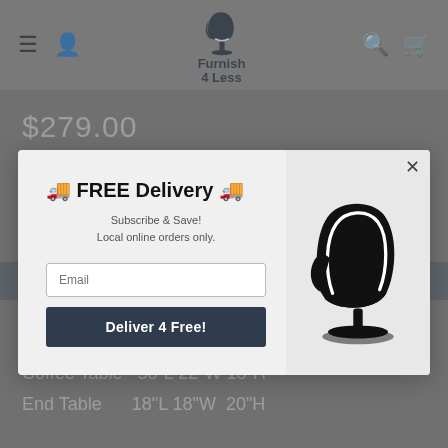Furnish 4 Less
$279.00
Quantity — 1 +
[Figure (infographic): FREE Delivery popup modal with email subscription form and egg chair illustration. Title: 🚚 FREE Delivery 🚚, subtitle: Subscribe & Save! Local online orders only. Email input field and Deliver 4 Free! button.]
3Pc Coffee Table Set
Coffee Table  38"L 22"W 18"H
End Table       18"L 18"W  20"H